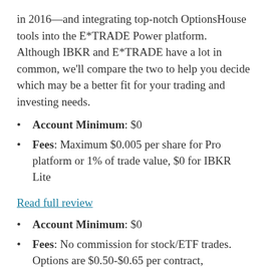in 2016—and integrating top-notch OptionsHouse tools into the E*TRADE Power platform. Although IBKR and E*TRADE have a lot in common, we'll compare the two to help you decide which may be a better fit for your trading and investing needs.
Account Minimum: $0
Fees: Maximum $0.005 per share for Pro platform or 1% of trade value, $0 for IBKR Lite
Read full review
Account Minimum: $0
Fees: No commission for stock/ETF trades. Options are $0.50-$0.65 per contract, depending on trading volume.
Read full review